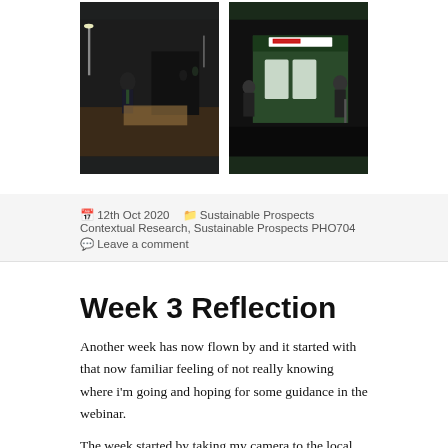[Figure (photo): Two nighttime outdoor photographs side by side. Left photo shows a person standing near film/camera equipment at night on what appears to be a sports field with lights. Right photo shows people near a green building structure with a sign.]
📅 12th Oct 2020   🗂 Sustainable Prospects Contextual Research, Sustainable Prospects PHO704
💬 Leave a comment
Week 3 Reflection
Another week has now flown by and it started with that now familiar feeling of not really knowing where i'm going and hoping for some guidance in the webinar.
The week started by taking my camera to the local barbers